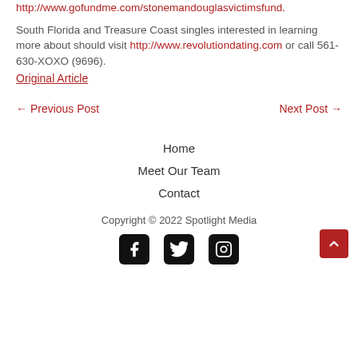http://www.gofundme.com/stonemandouglasvictimsfund.
South Florida and Treasure Coast singles interested in learning more about should visit http://www.revolutiondating.com or call 561-630-XOXO (9696).
Original Article
← Previous Post    Next Post →
Home
Meet Our Team
Contact
Copyright © 2022 Spotlight Media